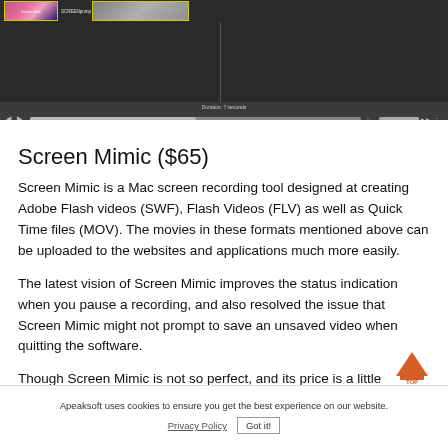[Figure (screenshot): Screenshot of a video editing/playback interface showing a dark-themed timeline with video thumbnails, playback area, and transport controls. Duration shows '7 seconds'.]
Screen Mimic ($65)
Screen Mimic is a Mac screen recording tool designed at creating Adobe Flash videos (SWF), Flash Videos (FLV) as well as Quick Time files (MOV). The movies in these formats mentioned above can be uploaded to the websites and applications much more easily.
The latest vision of Screen Mimic improves the status indication when you pause a recording, and also resolved the issue that Screen Mimic might not prompt to save an unsaved video when quitting the software.
Though Screen Mimic is not so perfect, and its price is a little
Apeaksoft uses cookies to ensure you get the best experience on our website.
Privacy Policy   Got it!